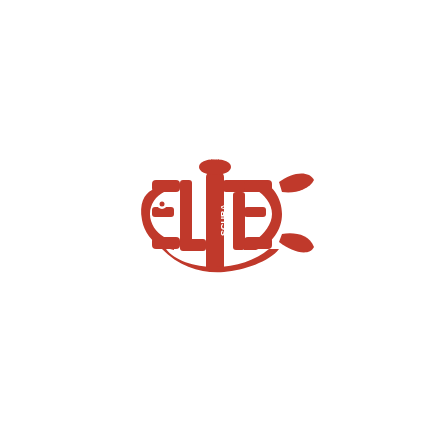[Figure (logo): Elite Scuba logo in red depicting a fish shape formed by stylized letters. The body of the fish is formed by the letters E, L, I, T, E spelling out 'ELITE' with 'SCUBA' written vertically in the center column. Small text arc at the top reads small print. The entire logo is red on white background.]